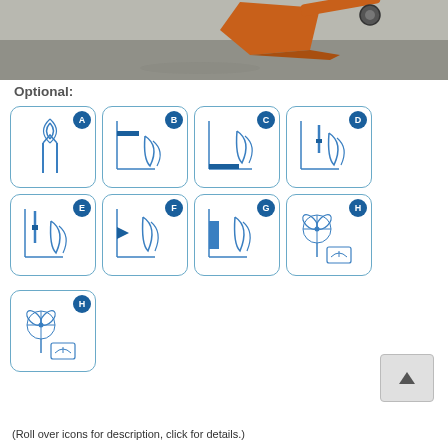[Figure (photo): Photograph of an orange excavator/plow attachment in motion on a road surface, partial view.]
Optional:
[Figure (infographic): Grid of 9 icon boxes labeled A through H (with H appearing twice), each showing a schematic diagram of a plow/blade configuration with a dark blue circular badge letter in the top-right corner. Icons represent optional equipment configurations.]
[Figure (other): Scroll-up button with triangle arrow.]
(Roll over icons for description, click for details.)